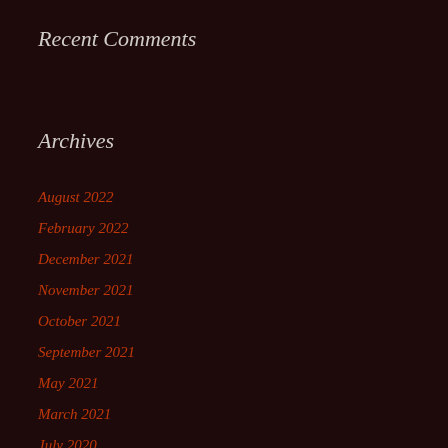Recent Comments
Archives
August 2022
February 2022
December 2021
November 2021
October 2021
September 2021
May 2021
March 2021
July 2020
February 2020